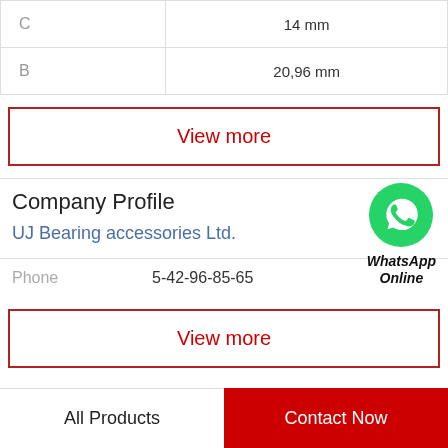| C | 14 mm |
| B | 20,96 mm |
View more
Company Profile
[Figure (logo): WhatsApp green circle logo with phone icon, labeled WhatsApp Online]
UJ Bearing accessories Ltd.
Phone   5-42-96-85-65
View more
All Products   Contact Now